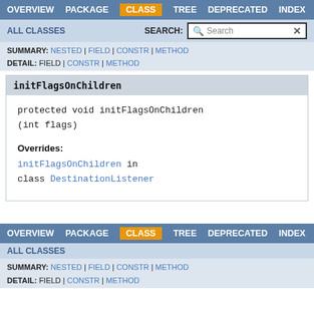OVERVIEW  PACKAGE  CLASS  TREE  DEPRECATED  INDEX
ALL CLASSES   SEARCH:
SUMMARY: NESTED | FIELD | CONSTR | METHOD
DETAIL: FIELD | CONSTR | METHOD
initFlagsOnChildren
protected void initFlagsOnChildren
(int flags)

Overrides:
initFlagsOnChildren in
class DestinationListener
OVERVIEW  PACKAGE  CLASS  TREE  DEPRECATED  INDEX
ALL CLASSES
SUMMARY: NESTED | FIELD | CONSTR | METHOD
DETAIL: FIELD | CONSTR | METHOD